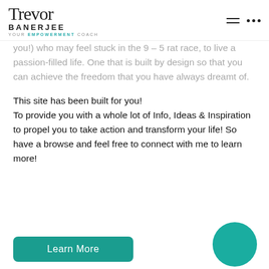Trevor Banerjee — Your Empowerment Coach
you!) who may feel stuck in the 9 – 5 rat race, to live a passion-filled life. One that is built by design so that you can achieve the freedom that you have always dreamt of.
This site has been built for you!
To provide you with a whole lot of Info, Ideas & Inspiration to propel you to take action and transform your life! So have a browse and feel free to connect with me to learn more!
Learn More